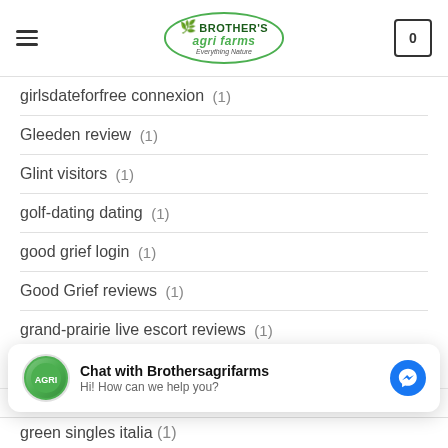Brother's Agri Farms – Everything Nature
girlsdateforfree connexion (1)
Gleeden review (1)
Glint visitors (1)
golf-dating dating (1)
good grief login (1)
Good Grief reviews (1)
grand-prairie live escort reviews (1)
grand-rapids escort sites (1)
green singles italia (1)